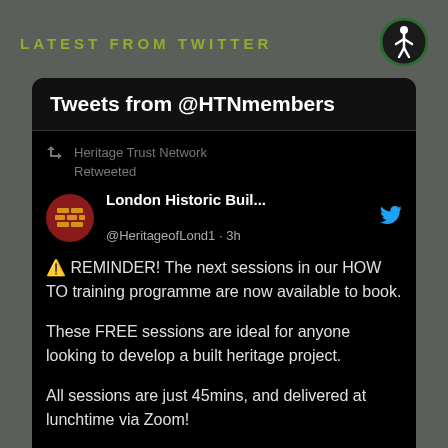LATEST FROM TWITTER
[Figure (illustration): Accessibility icon — white stick figure in circle with dark green border]
Tweets from @HTNmembers
Heritage Trust Network Retweeted
London Historic Buil... @HeritageofLond1 · 3h
⚠️ REMINDER! The next sessions in our HOW TO training programme are now available to book.

These FREE sessions are ideal for anyone looking to develop a built heritage project.

All sessions are just 45mins, and delivered at lunchtime via Zoom!

Book: linktr.ee/londonhistoric